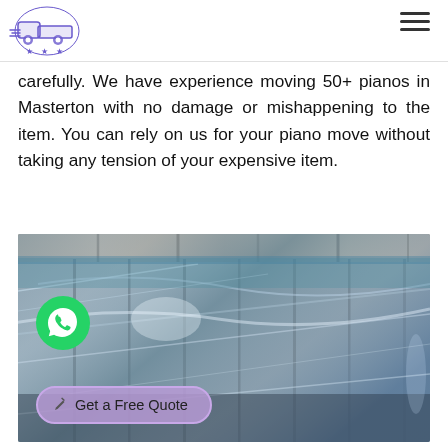[Logo: moving truck icon] [Hamburger menu]
carefully. We have experience moving 50+ pianos in Masterton with no damage or mishappening to the item. You can rely on us for your piano move without taking any tension of your expensive item.
[Figure (photo): A large item (likely a piano or furniture) wrapped tightly in clear plastic stretch wrap, photographed in what appears to be a warehouse or storage facility. A green WhatsApp icon button is overlaid in the lower-left area, and a purple 'Get a Free Quote' button is overlaid near the bottom.]